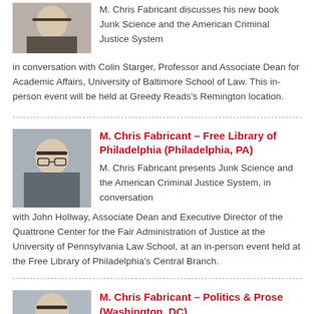[Figure (photo): Headshot of M. Chris Fabricant (partial, top of page)]
M. Chris Fabricant discusses his new book Junk Science and the American Criminal Justice System in conversation with Colin Starger, Professor and Associate Dean for Academic Affairs, University of Baltimore School of Law. This in-person event will be held at Greedy Reads's Remington location.
[Figure (photo): Headshot of M. Chris Fabricant, man with glasses]
M. Chris Fabricant – Free Library of Philadelphia (Philadelphia, PA)
M. Chris Fabricant presents Junk Science and the American Criminal Justice System, in conversation with John Hollway, Associate Dean and Executive Director of the Quattrone Center for the Fair Administration of Justice at the University of Pennsylvania Law School, at an in-person event held at the Free Library of Philadelphia's Central Branch.
[Figure (photo): Headshot of M. Chris Fabricant (bottom of page, partial)]
M. Chris Fabricant – Politics & Prose (Washington, DC)